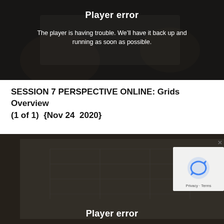[Figure (screenshot): Video player error screen showing a dark overlay over a photo of hands drawing on paper, with 'Player error' title and error message in white text]
Player error
The player is having trouble. We'll have it back up and running as soon as possible.
SESSION 7 PERSPECTIVE ONLINE: Grids Overview (1 of 1)  {Nov 24  2020}
[Figure (screenshot): Second video player error screen showing a dark overlay over a photo of a perspective drawing of a room grid on paper, with 'Player error' title and a reCAPTCHA widget in lower right corner]